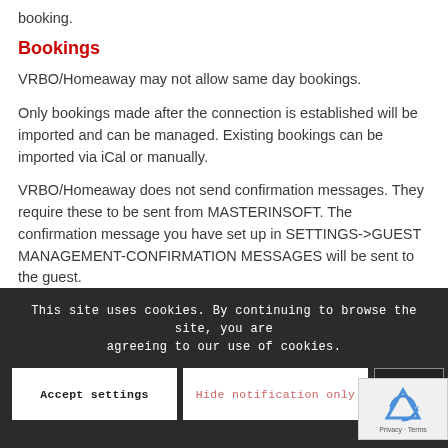booking.
Bookings
VRBO/Homeaway may not allow same day bookings.
Only bookings made after the connection is established will be imported and can be managed. Existing bookings can be imported via iCal or manually.
VRBO/Homeaway does not send confirmation messages. They require these to be sent from MASTERINSOFT. The confirmation message you have set up in SETTINGS->GUEST MANAGEMENT-CONFIRMATION MESSAGES will be sent to the guest.
This site uses cookies. By continuing to browse the site, you are agreeing to our use of cookies.